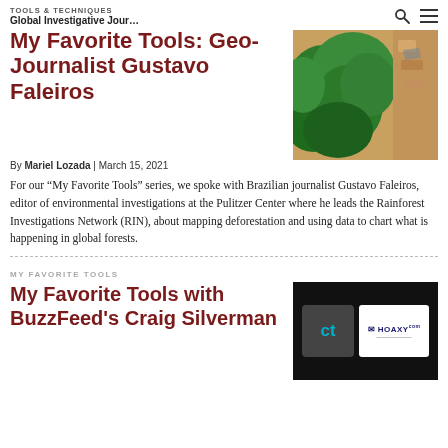TOOLS & TECHNIQUES | Global Investigative Jour...
My Favorite Tools: Geo-Journalist Gustavo Faleiros
[Figure (photo): Aerial photograph of rainforest deforestation showing green forest canopy next to cleared brown earth with machinery]
By Mariel Lozada  |  March 15, 2021
For our “My Favorite Tools” series, we spoke with Brazilian journalist Gustavo Faleiros, editor of environmental investigations at the Pulitzer Center where he leads the Rainforest Investigations Network (RIN), about mapping deforestation and using data to chart what is happening in global forests.
MY FAVORITE TOOLS
My Favorite Tools with BuzzFeed’s Craig Silverman
[Figure (photo): Dark background with two logos: ClaimBuster (ct) in teal on dark grey, and Hoaxy logo on white background]